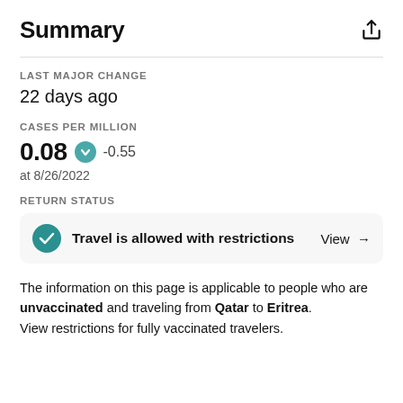Summary
LAST MAJOR CHANGE
22 days ago
CASES PER MILLION
0.08  ↓ -0.55
at 8/26/2022
RETURN STATUS
Travel is allowed with restrictions  View →
The information on this page is applicable to people who are unvaccinated and traveling from Qatar to Eritrea. View restrictions for fully vaccinated travelers.